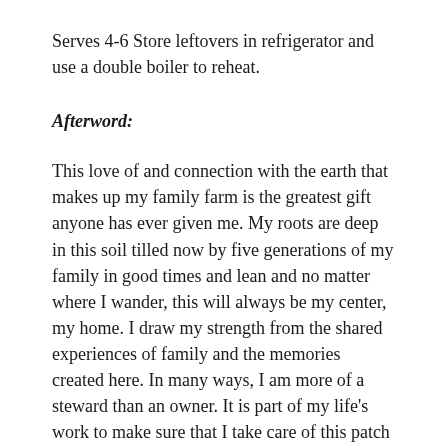Serves 4-6 Store leftovers in refrigerator and use a double boiler to reheat.
Afterword:
This love of and connection with the earth that makes up my family farm is the greatest gift anyone has ever given me. My roots are deep in this soil tilled now by five generations of my family in good times and lean and no matter where I wander, this will always be my center, my home. I draw my strength from the shared experiences of family and the memories created here. In many ways, I am more of a steward than an owner. It is part of my life's work to make sure that I take care of this patch of land to pass it on to those who are following me and when I watch our nieces and nephew out in the garden helping us, I know what they mean when they say we are merely borrowing the earth from our children. I am thankful everyday for the sacrifices made by my parents and